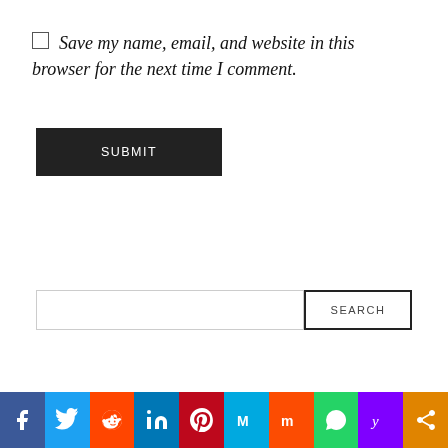Save my name, email, and website in this browser for the next time I comment.
SUBMIT
SEARCH
[Figure (infographic): Social sharing bar with icons: Facebook, Twitter, Reddit, LinkedIn, Pinterest, MeWe, Mix, WhatsApp, Yummly, Share]